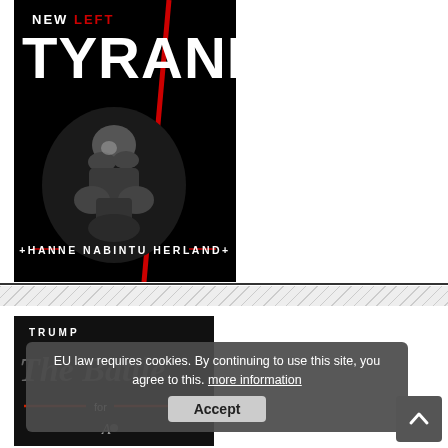[Figure (illustration): Book cover of 'New Left Tyranny' by Hanne Nabintu Herland. Black background with large white bold text 'TYRANNY', smaller text 'NEW LEFT' above, a red diagonal line across the cover, a silver sculpture of intertwined human figures in the center, and the author name at the bottom.]
[Figure (illustration): Partial book cover of a book by Trump, titled 'The Battle for...' with red lines and decorative elements. Only partially visible, mostly obscured by cookie consent banner.]
EU law requires cookies. By continuing to use this site, you agree to this. more information
Accept